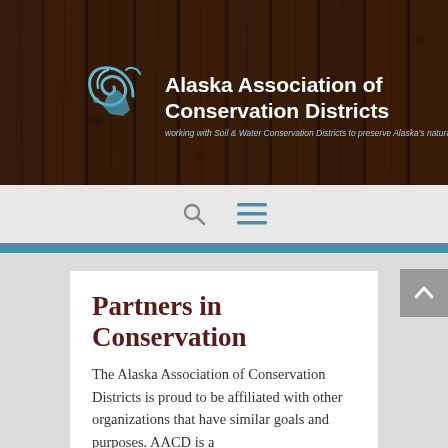[Figure (screenshot): Website header banner with dark wood texture background showing the Alaska Association of Conservation Districts logo (stylized blue swirl/bear) and organization name in white bold text, with tagline 'working with Soil & Water Conservation Districts to preserve Alaska's natural resources' in light blue italic text.]
[Figure (screenshot): Navigation bar on light gray background with a search icon (magnifying glass) and hamburger menu icon (three horizontal teal lines).]
Partners in Conservation
The Alaska Association of Conservation Districts is proud to be affiliated with other organizations that have similar goals and purposes. AACD is a